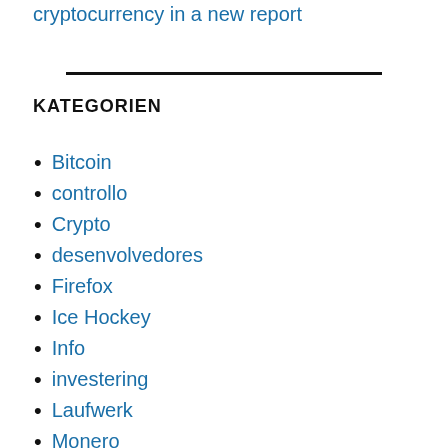cryptocurrency in a new report
KATEGORIEN
Bitcoin
controllo
Crypto
desenvolvedores
Firefox
Ice Hockey
Info
investering
Laufwerk
Monero
OpenOffice